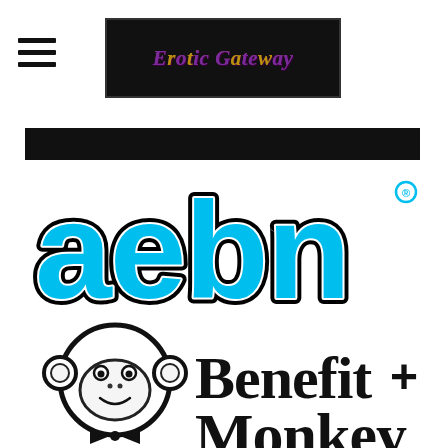[Figure (logo): Hamburger menu icon (three horizontal lines) on the left, and 'Erotic Gateway' logo text in a decorative purple/gold font on a black rectangle banner, centered at top.]
[Figure (logo): AEBN logo in cyan/light blue block letters with white outline and black border on white background.]
[Figure (logo): Benefit Monkey logo: cartoon monkey face in black and white with bow tie, next to 'Benefit Monkey' text in bold black serif font with a plus sign.]